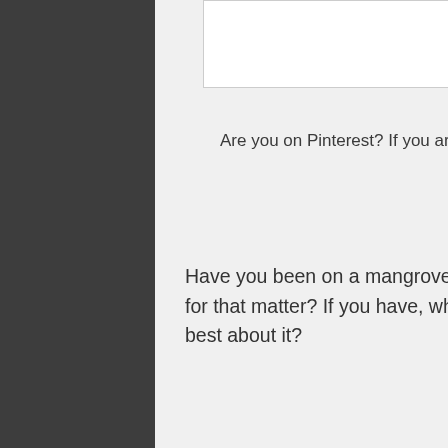[Figure (photo): Image placeholder at top of page]
Are you on Pinterest? If you are, use this photo to bookmark and/or share this blog post ☺
Have you been on a mangrove cruise tour in Langkawi or anywhere else for that matter? If you have, what do you think of it, and what did you like best about it?
Going to Langkawi, Malaysia? Do check out these hotels for your accommodation requirements there.

For other blog entries on Malaysia,